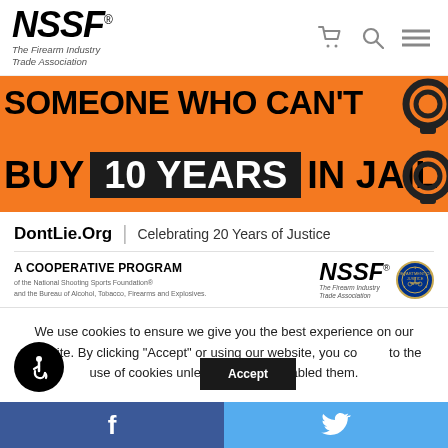NSSF® The Firearm Industry Trade Association
[Figure (infographic): Orange and black banner reading: SOMEONE WHO CAN'T BUY 10 YEARS IN JAIL with handcuff imagery on the right side]
DontLie.Org | Celebrating 20 Years of Justice
A COOPERATIVE PROGRAM of the National Shooting Sports Foundation® and the Bureau of Alcohol, Tobacco, Firearms and Explosives.
[Figure (logo): NSSF The Firearm Industry Trade Association logo and ATF seal]
We use cookies to ensure we give you the best experience on our website. By clicking "Accept" or using our website, you consent to the use of cookies unless you have disabled them.
Facebook and Twitter social share buttons